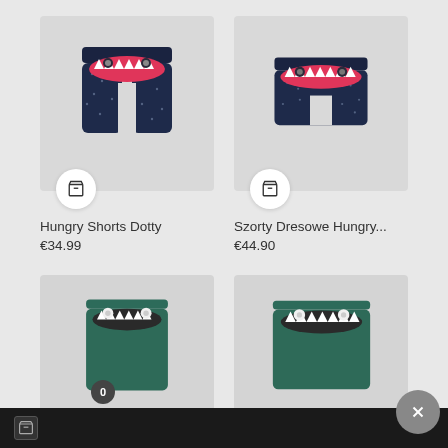[Figure (photo): Navy polka dot shark mouth children's shorts - top view, with white shopping cart button overlay]
Hungry Shorts Dotty
€34.99
[Figure (photo): Navy polka dot shark mouth children's shorts - front view, with white shopping cart button overlay]
Szorty Dresowe Hungry...
€44.90
[Figure (photo): Teal green shark mouth children's shorts - partially visible at bottom of page]
[Figure (photo): Teal green shark mouth children's shorts - partially visible at bottom of page, right side]